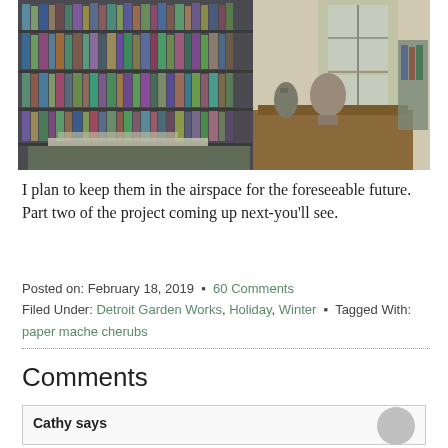[Figure (photo): Interior photo of a home library/study with white bookshelves packed with books, a wooden desk with papers, and a decorative rooster figurine and bust sculpture visible in the background.]
I plan to keep them in the airspace for the foreseeable future. Part two of the project coming up next-you'll see.
Posted on: February 18, 2019 · 60 Comments
Filed Under: Detroit Garden Works, Holiday, Winter · Tagged With: paper mache cherubs
Comments
Cathy says